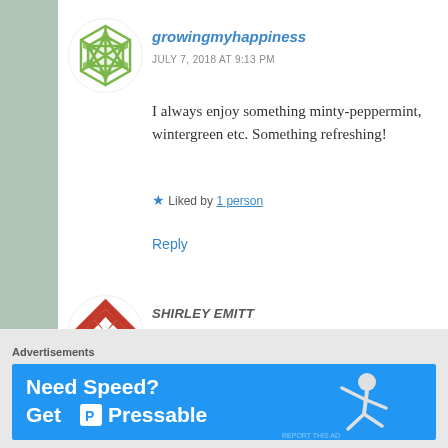[Figure (illustration): Green geometric circular avatar icon for growingmyhappiness]
growingmyhappiness
JULY 7, 2018 AT 9:13 PM
I always enjoy something minty-peppermint, wintergreen etc. Something refreshing!
★ Liked by 1 person
Reply
[Figure (illustration): Red and white geometric circular avatar icon for Shirley Emitt]
SHIRLEY EMITT
JULY 7, 2018 AT 9:53 PM
I like spearmint the most.
Advertisements
[Figure (illustration): Blue advertisement banner: Need Speed? Get P Pressable, with a running figure]